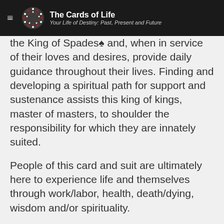The Cards of Life — Your Life of Destiny: Past, Present and Future
the King of Spades♠ and, when in service of their loves and desires, provide daily guidance throughout their lives. Finding and developing a spiritual path for support and sustenance assists this king of kings, master of masters, to shoulder the responsibility for which they are innately suited.
People of this card and suit are ultimately here to experience life and themselves through work/labor, health, death/dying, wisdom and/or spirituality.
As a member of the royal Trinity of Spades♠ Court Cards, which governs the season/suit of winter, the King of Spades♠ rules over the entire month of January and also the week of January 1 – 7 in both common years and leap years.